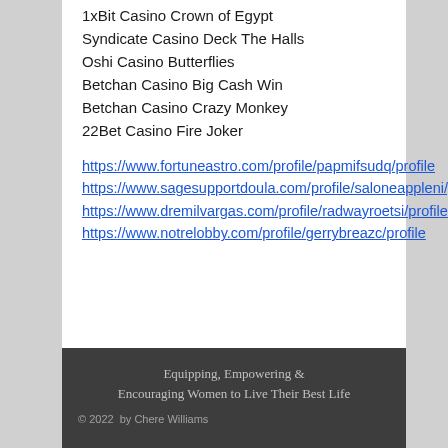1xBit Casino Crown of Egypt
Syndicate Casino Deck The Halls
Oshi Casino Butterflies
Betchan Casino Big Cash Win
Betchan Casino Crazy Monkey
22Bet Casino Fire Joker
https://www.fortuneastro.com/profile/papmifsudq/profile
https://www.sagesupportdoula.com/profile/saloneappleni/profile
https://www.dremilvargas.com/profile/radwayroetsi/profile
https://www.notrelobby.com/profile/gerrybreazc/profile
Equipping, Empowering & Encouraging Women to Live Their Best Life
© 2022  by Chere Williams